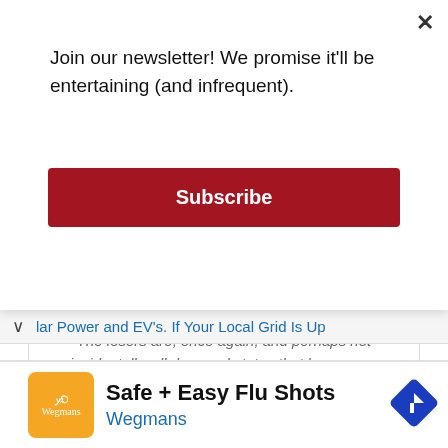Join our newsletter! We promise it'll be entertaining (and infrequent).
Subscribe
The losers are, once again, and perhaps not coincidentally, all deep red states that have a super low concentration of corporate power.
lar Power and EV's. If Your Local Grid Is Up
[Figure (other): Wegmans advertisement: Safe + Easy Flu Shots with orange Wegmans logo icon and blue road sign icon]